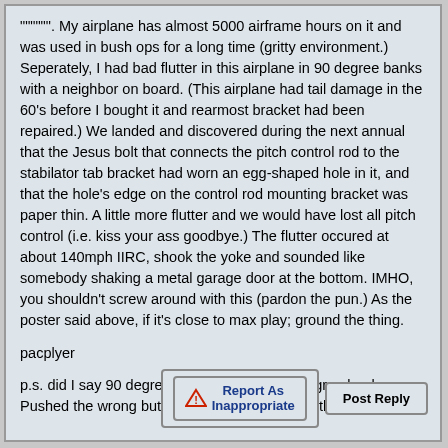""""". My airplane has almost 5000 airframe hours on it and was used in bush ops for a long time (gritty environment.) Seperately, I had bad flutter in this airplane in 90 degree banks with a neighbor on board. (This airplane had tail damage in the 60's before I bought it and rearmost bracket had been repaired.) We landed and discovered during the next annual that the Jesus bolt that connects the pitch control rod to the stabilator tab bracket had worn an egg-shaped hole in it, and that the hole's edge on the control rod mounting bracket was paper thin. A little more flutter and we would have lost all pitch control (i.e. kiss your ass goodbye.) The flutter occured at about 140mph IIRC, shook the yoke and sounded like somebody shaking a metal garage door at the bottom. IMHO, you shouldn't screw around with this (pardon the pun.) As the poster said above, if it's close to max play; ground the thing.
pacplyer
p.s. did I say 90 degree banks? I meant 60 degree banks. Pushed the wrong button again. I hate it when that happens. ;-)